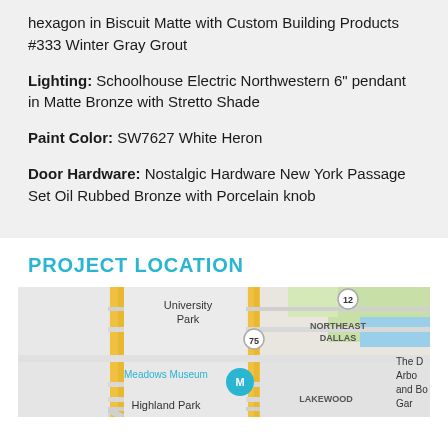hexagon in Biscuit Matte with Custom Building Products #333 Winter Gray Grout
Lighting: Schoolhouse Electric Northwestern 6" pendant in Matte Bronze with Stretto Shade
Paint Color: SW7627 White Heron
Door Hardware: Nostalgic Hardware New York Passage Set Oil Rubbed Bronze with Porcelain knob
PROJECT LOCATION
[Figure (map): Google Maps view centered on University Park and Highland Park area of Dallas, TX. Shows Meadows Museum marker, roads including routes 12, 75, northeast Dallas, Lakewood area, and partial text of The D Arbor and Bo Gar in lower right.]